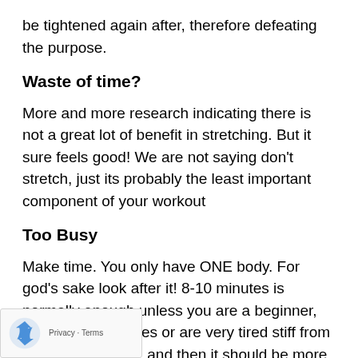be tightened again after, therefore defeating the purpose.
Waste of time?
More and more research indicating there is not a great lot of benefit in stretching. But it sure feels good! We are not saying don't stretch, just its probably the least important component of your workout
Too Busy
Make time. You only have ONE body. For god's sake look after it! 8-10 minutes is normally enough unless you are a beginner, have specific issues or are very tired stiff from your previous out, and then it should be more.
p Coach